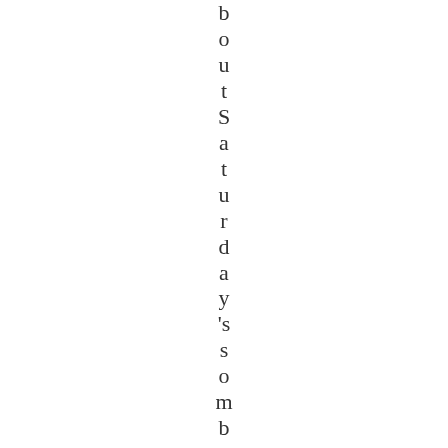boutSaturday's somber day at Aquedu